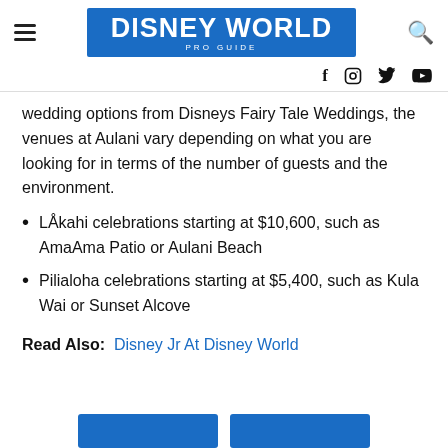DISNEY WORLD PRO GUIDE
wedding options from Disneys Fairy Tale Weddings, the venues at Aulani vary depending on what you are looking for in terms of the number of guests and the environment.
LÅkahi celebrations starting at $10,600, such as AmaAma Patio or Aulani Beach
Pilialoha celebrations starting at $5,400, such as Kula Wai or Sunset Alcove
Read Also: Disney Jr At Disney World